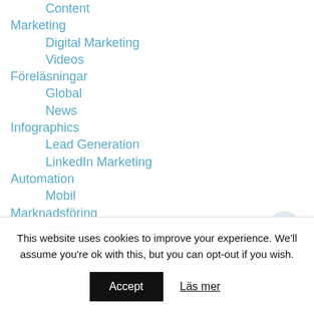Content
Marketing
Digital Marketing
Videos
Föreläsningar
Global
News
Infographics
Lead Generation
LinkedIn Marketing
Automation
Mobil
Marknadsföring
Search
Engine
This website uses cookies to improve your experience. We'll assume you're ok with this, but you can opt-out if you wish.
Accept   Läs mer